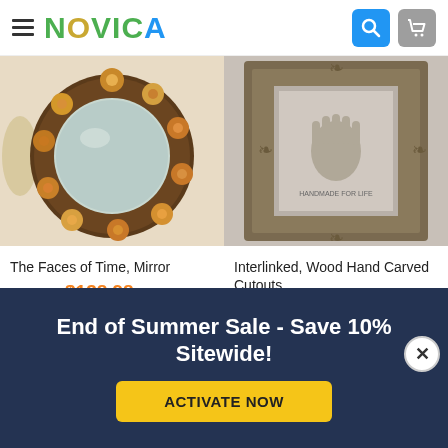[Figure (screenshot): NOVICA e-commerce website header with hamburger menu, NOVICA logo, search icon, and cart icon]
[Figure (photo): Decorative round mirror with mosaic clock face border - The Faces of Time Mirror product photo]
The Faces of Time, Mirror
$155.15  $138.98
[Figure (photo): Wood hand carved cutouts decorative frame with handprint inside - Interlinked Wood Hand Carved Cutouts product photo]
Interlinked, Wood Hand Carved Cutouts...
$40.13  $35.86
[Figure (photo): Bottom left partial product photo with Featured Sale badge]
[Figure (photo): Bottom right partial product photo showing striped textile]
Featured Sale
End of Summer Sale - Save 10% Sitewide!
ACTIVATE NOW